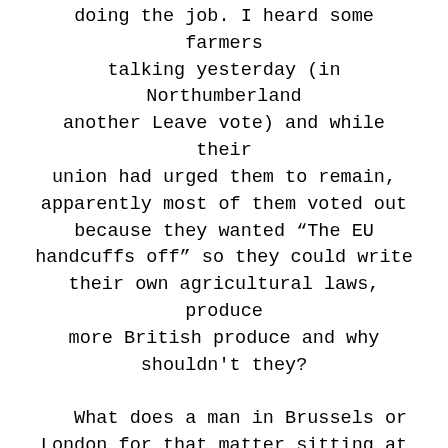doing the job. I heard some farmers talking yesterday (in Northumberland another Leave vote) and while their union had urged them to remain, apparently most of them voted out because they wanted "The EU handcuffs off" so they could write their own agricultural laws, produce more British produce and why shouldn't they?

What does a man in Brussels or London for that matter sitting at a desk for most his life know about farming crops when he probably doesn't even own a plant pot. This is true of many industries and jobs where it would be much better to take counsel from the people